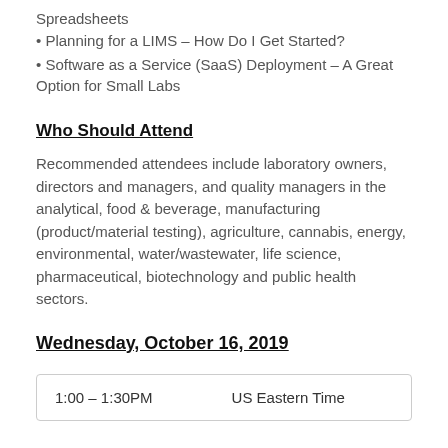Spreadsheets
Planning for a LIMS – How Do I Get Started?
Software as a Service (SaaS) Deployment – A Great Option for Small Labs
Who Should Attend
Recommended attendees include laboratory owners, directors and managers, and quality managers in the analytical, food & beverage, manufacturing (product/material testing), agriculture, cannabis, energy, environmental, water/wastewater, life science, pharmaceutical, biotechnology and public health sectors.
Wednesday, October 16, 2019
| 1:00 – 1:30PM | US Eastern Time |